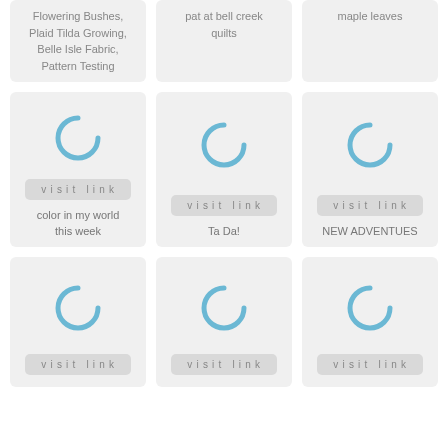Flowering Bushes, Plaid Tilda Growing, Belle Isle Fabric, Pattern Testing
pat at bell creek quilts
maple leaves
[Figure (screenshot): Card with loading spinner, visit link button, and label 'color in my world this week']
[Figure (screenshot): Card with loading spinner, visit link button, and label 'Ta Da!']
[Figure (screenshot): Card with loading spinner, visit link button, and label 'NEW ADVENTUES']
[Figure (screenshot): Card with loading spinner and visit link button]
[Figure (screenshot): Card with loading spinner and visit link button]
[Figure (screenshot): Card with loading spinner and visit link button]